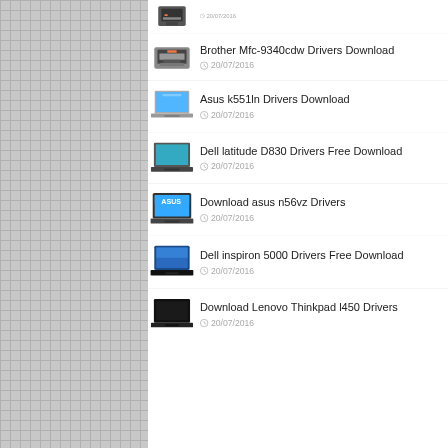20/07/2016
Brother Mfc-9340cdw Drivers Download
20/07/2016
Asus k551ln Drivers Download
20/07/2016
Dell latitude D830 Drivers Free Download
20/07/2016
Download asus n56vz Drivers
20/07/2016
Dell inspiron 5000 Drivers Free Download
20/07/2016
Download Lenovo Thinkpad l450 Drivers
20/07/2016